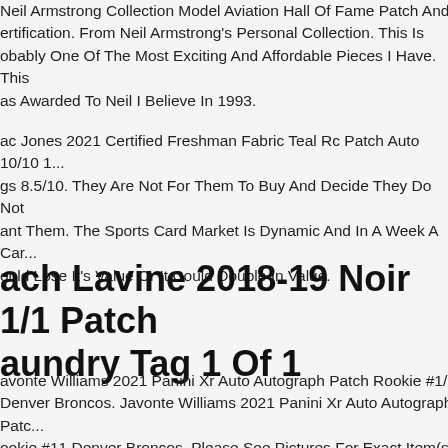Neil Armstrong Collection Model Aviation Hall Of Fame Patch And certification. From Neil Armstrong's Personal Collection. This Is Probably One Of The Most Exciting And Affordable Pieces I Have. This Was Awarded To Neil I Believe In 1993.
Mac Jones 2021 Certified Freshman Fabric Teal Rc Patch Auto 10/10 1... gs 8.5/10. They Are Not For Them To Buy And Decide They Do Not Want Them. The Sports Card Market Is Dynamic And In A Week A Card Could Lose It's Value Or It Could Double In Value.
Zach Lavine 2018-19 Noir 1/1 Patch Laundry Tag 1 Of 1
Javonte Williams 2021 Panini Xr Auto Autograph Patch Rookie #1/1 Denver Broncos. Javonte Williams 2021 Panini Xr Auto Autograph Patch Rookie #11 Denver Broncos. Please See Pictures For Exact Item(s) And Ask Questions Before Purchase. View Other Auctionsitems As Well. Lot of Great Stuff At Bargain Prices Up Only And There Are No Returns...